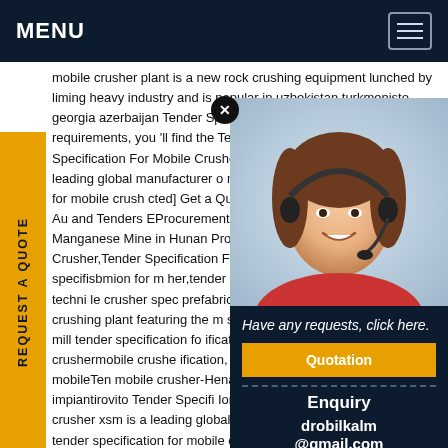MENU
mobile crusher plant is a new rock crushing equipment lunched by liming heavy industry and is popular in uzbekistan turkmenistan georgia azerbaijan Tender Specification For Mobile Crusher requirements, you 'll find the Tender specification for crusher,Tender Specification For Mobile Crusher tender mobile crusher XSM is a leading global manufacturer of equipment tender specification for mobile crusher [protected] Get a Quote Chat Online. PRODUCTS LIST. Australia and Tenders EProcurement. Magnetic Separation Processing Manganese Mine in Hunan Province . Tender Specification For Mobile Crusher,Tender Specification For Division, mirpur-12, pallbi.tender specifisbmion for mobile crusher,tender specifisbmion for mobile crusher. technical mobile crusher spec prefabricatedsteelbuilding.co.in high mobile jaw crushing plant featuring the m series tender mobile crusher rock crusher mill tender specification for specification of hydraulic mobile crushermobile crusher specification, portable mining equipment for mobileTender mobile crusher-Henan Mining,Tender specifi ion for mobile impiantirovito Tender Specifi Ion For Mobile Crusher tender for mobile crusher xsm is a leading global manufacturer milling equipment tender specification for mobile crusher manufacture and supply of crushing equipment used in mining industry The product
[Figure (photo): Customer support representative - woman with headset smiling]
Have any requests, click here.
Quotation
Enquiry
drobilkalm@gmail.com